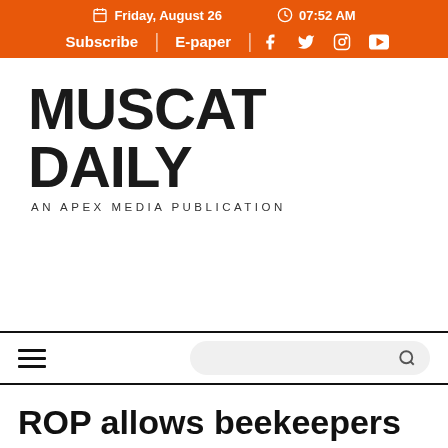Friday, August 26  07:52 AM
Subscribe  E-paper
MUSCAT DAILY
AN APEX MEDIA PUBLICATION
ROP allows beekeepers to